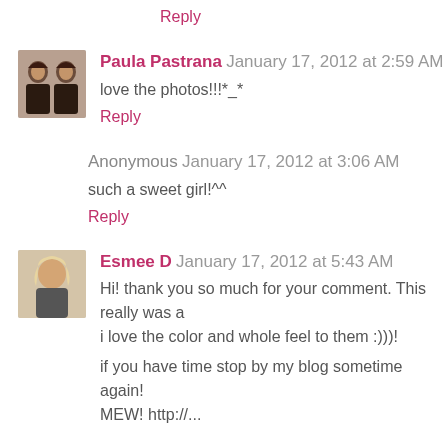Reply
Paula Pastrana  January 17, 2012 at 2:59 AM
love the photos!!!*_*
Reply
Anonymous  January 17, 2012 at 3:06 AM
such a sweet girl!^^
Reply
Esmee D  January 17, 2012 at 5:43 AM
Hi! thank you so much for your comment. This really was a i love the color and whole feel to them :)))!
if you have time stop by my blog sometime again! MEW! http://...